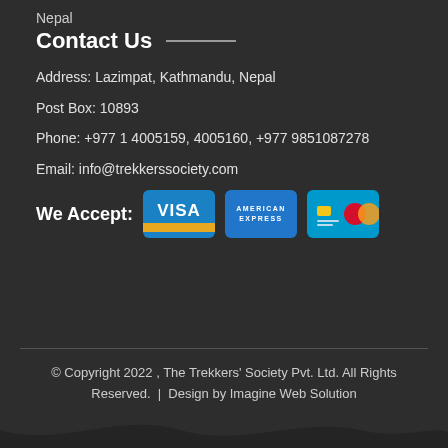Nepal
Contact Us
Address: Lazimpat, Kathmandu, Nepal
Post Box: 10893
Phone: +977 1 4005159, 4005160, +977 9851087278
Email: info@trekkerssociety.com
[Figure (other): We Accept: VISA, American Express, and Maestro/Mastercard payment icons]
© Copyright 2022 , The Trekkers' Society Pvt. Ltd. All Rights Reserved. | Design by Imagine Web Solution